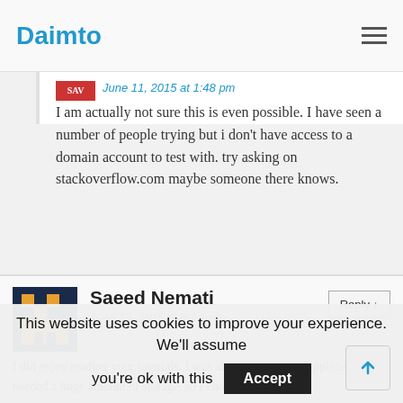Daimto
June 11, 2015 at 1:48 pm
I am actually not sure this is even possible. I have seen a number of people trying but i don't have access to a domain account to test with. try asking on stackoverflow.com maybe someone there knows.
Saeed Nemati
June 23, 2015 at 8:14 am
I did enjoy reading your tutorials. I was about to create an application that needed a huge amount of storage, so I chose Google
This website uses cookies to improve your experience. We'll assume you're ok with this
Accept